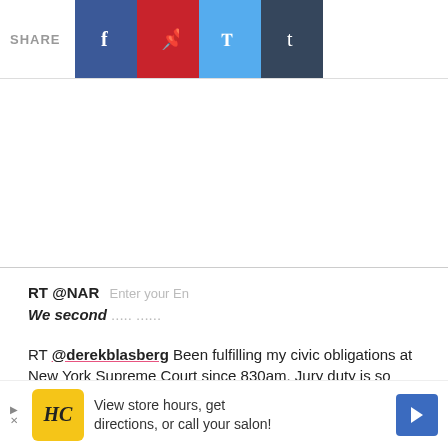SHARE [social share buttons: Facebook, Pinterest, Twitter, Tumblr]
RT @NAR Enter your En
We second ..... ......
RT @derekblasberg Been fulfilling my civic obligations at New York Supreme Court since 830am. Jury duty is so real, and I'm jealous the judge gets a costume.
View store hours, get directions, or call your salon!